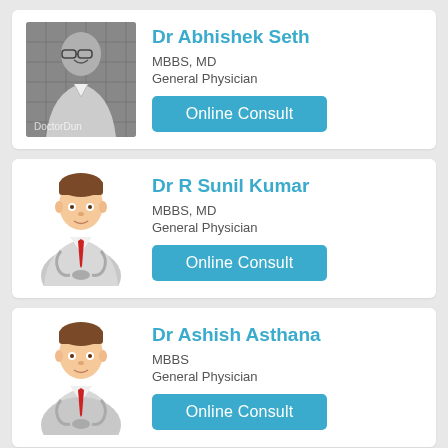[Figure (photo): Black and white photo of Dr Abhishek Seth, a young man with glasses, smiling, with 'DoctorDun' watermark visible]
Dr Abhishek Seth
MBBS, MD
General Physician
Online Consult
[Figure (illustration): Generic doctor avatar illustration with red tie and stethoscope]
Dr R Sunil Kumar
MBBS, MD
General Physician
Online Consult
[Figure (illustration): Generic doctor avatar illustration with red tie and stethoscope]
Dr Ashish Asthana
MBBS
General Physician
Online Consult